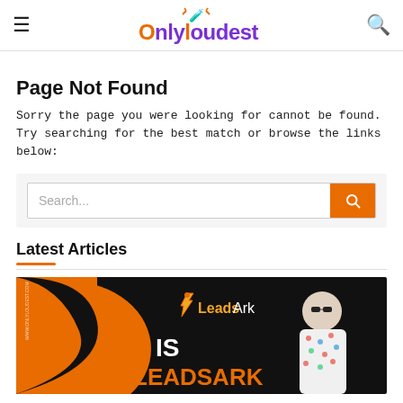onlyloudest
Page Not Found
Sorry the page you were looking for cannot be found. Try searching for the best match or browse the links below:
[Figure (screenshot): Search input box with placeholder 'Search...' and an orange search button with magnifying glass icon]
Latest Articles
[Figure (photo): LeadsArk promotional banner with orange and black background, LeadsArk logo, text 'IS LEADSARK' and a man in a floral shirt wearing sunglasses]